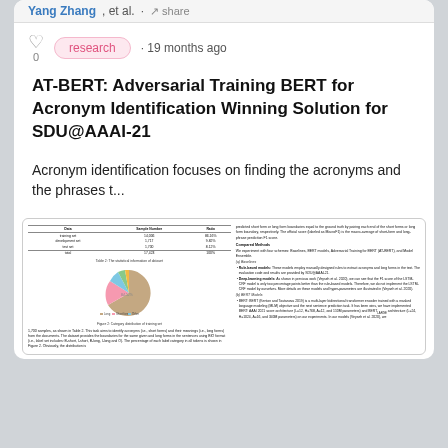Yang Zhang, et al. · share
research · 19 months ago
AT-BERT: Adversarial Training BERT for Acronym Identification Winning Solution for SDU@AAAI-21
Acronym identification focuses on finding the acronyms and the phrases t...
[Figure (screenshot): Preview of the paper page showing a table of dataset statistics, a pie chart of category distribution in training set, and two columns of body text including sections on Compared Methods, Baselines, Deep-learning models, and BERT Models.]